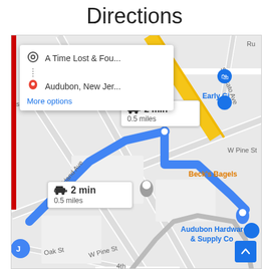Directions
[Figure (map): Google Maps screenshot showing driving directions from A Time Lost & Fou... to Audubon, New Jer... with a blue route path, showing 2 min / 0.5 miles. Streets visible include Oakland Ave, Audubon Terrace, W Pine St, Oak St, S Lecato Ave. Points of interest: Early Gi, Beck's Bagels, Audubon Hardware & Supply Co.]